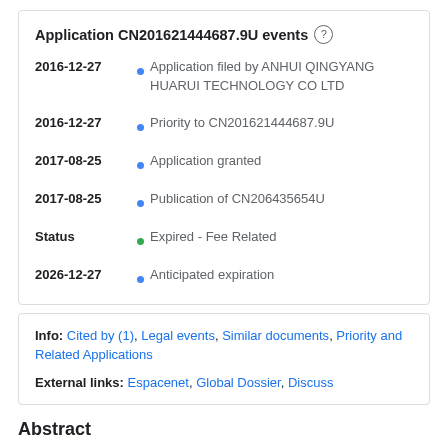Application CN201621444687.9U events
2016-12-27 • Application filed by ANHUI QINGYANG HUARUI TECHNOLOGY CO LTD
2016-12-27 • Priority to CN201621444687.9U
2017-08-25 • Application granted
2017-08-25 • Publication of CN206435654U
Status • Expired - Fee Related
2026-12-27 • Anticipated expiration
Info: Cited by (1), Legal events, Similar documents, Priority and Related Applications
External links: Espacenet, Global Dossier, Discuss
Abstract
The utility model discloses a kind of bracket bent mould, die shoe is connected with upper bolster by guide pillar,